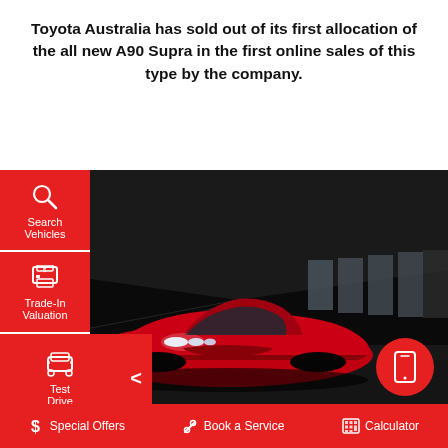Toyota Australia has sold out of its first allocation of the all new A90 Supra in the first online sales of this type by the company.
[Figure (screenshot): Screenshot of Toyota Australia website showing a red sports car (A90 Supra) in a dark tunnel, with a left side navigation menu (Search Vehicles, Trade-In Valuation, Test Drive), a mobile icon button, and a red bottom bar with Special Offers, Book a Service, Calculator links.]